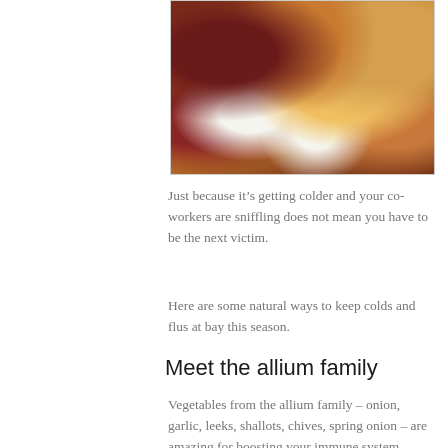[Figure (photo): A pile of various onions including red onions, white onions, and brown/yellow onions clustered together.]
Just because it’s getting colder and your co-workers are sniffling does not mean you have to be the next victim.
Here are some natural ways to keep colds and flus at bay this season.
Meet the allium family
Vegetables from the allium family – onion, garlic, leeks, shallots, chives, spring onion – are amazing for boosting your immune system. Garlic in particular has been shown to fight bacteria, viruses, and fungi. So add these wonderfully pungent vegetables to your soups,